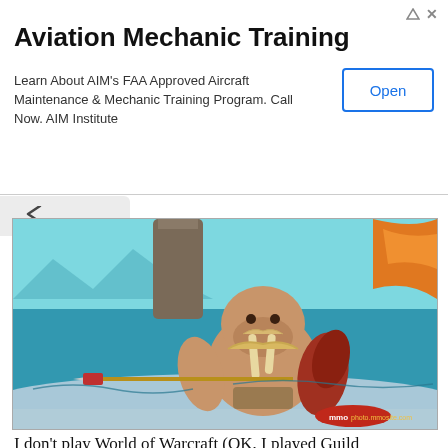[Figure (infographic): Advertisement banner for Aviation Mechanic Training by AIM Institute with an Open button]
Aviation Mechanic Training
Learn About AIM's FAA Approved Aircraft Maintenance & Mechanic Training Program. Call Now. AIM Institute
[Figure (screenshot): World of Warcraft game screenshot showing a walrus-like creature (Tuskarr) holding a spear in an icy environment with teal water and snowy landscape. Watermark: mmo photo.mmosite.com]
I don't play World of Warcraft (OK, I played Guild